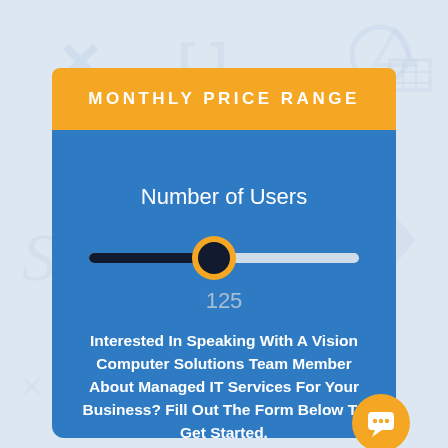[Figure (infographic): Background with faint light blue technology/math symbols (X, brackets, circles, arrows) on a white/light grey background]
MONTHLY PRICE RANGE
Number of Users
[Figure (infographic): A slider UI element showing a horizontal track, dark/filled left portion, white right portion, with a circular dark thumb with orange ring at approximately 50% position. Value '125' shown below.]
125
Interested In Speaking With A Vision Computer Solutions Team Member About Managed IT Services For Your Business? Fill Out The Form Below To Get Started.